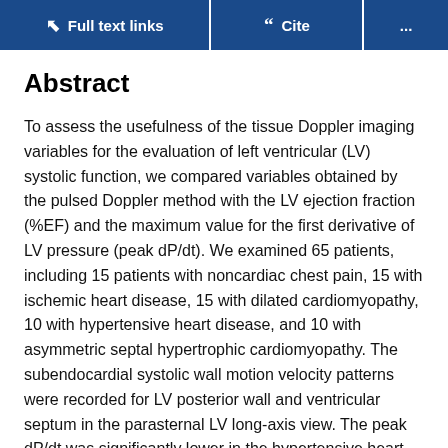Full text links  Cite  ...
Abstract
To assess the usefulness of the tissue Doppler imaging variables for the evaluation of left ventricular (LV) systolic function, we compared variables obtained by the pulsed Doppler method with the LV ejection fraction (%EF) and the maximum value for the first derivative of LV pressure (peak dP/dt). We examined 65 patients, including 15 patients with noncardiac chest pain, 15 with ischemic heart disease, 15 with dilated cardiomyopathy, 10 with hypertensive heart disease, and 10 with asymmetric septal hypertrophic cardiomyopathy. The subendocardial systolic wall motion velocity patterns were recorded for LV posterior wall and ventricular septum in the parasternal LV long-axis view. The peak dP/dt was significantly lower in the hypertensive heart disease,